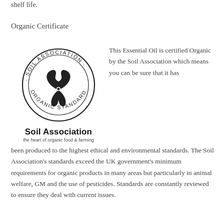shelf life.
Organic Certificate
[Figure (logo): Soil Association circular logo with text 'SOIL ASSOCIATION · ORGANIC STANDARD' around a trefoil leaf symbol, with bold text 'Soil Association' and tagline 'the heart of organic food & farming']
This Essential Oil is certified Organic by the Soil Association which means you can be sure that it has been produced to the highest ethical and environmental standards. The Soil Association's standards exceed the UK government's minimum requirements for organic products in many areas but particularly in animal welfare, GM and the use of pesticides. Standards are constantly reviewed to ensure they deal with current issues.